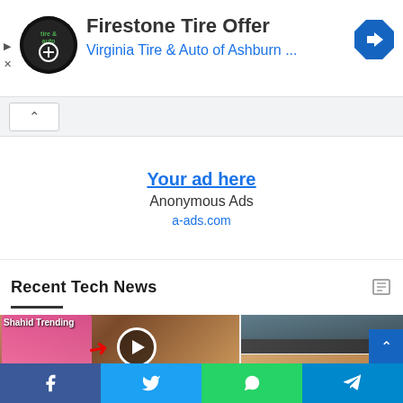[Figure (screenshot): Firestone Tire Offer advertisement banner with Virginia Tire & Auto of Ashburn logo and navigation arrow icon]
[Figure (screenshot): Anonymous Ads block with 'Your ad here' link and a-ads.com URL]
Recent Tech News
[Figure (screenshot): News thumbnails row: left shows 'Shahid Trending' video thumbnail with woman in pink mask and play button overlay captioned 'Aika robredo scandal video Link Watch'; right shows traffic/crowd photo and person photo]
[Figure (screenshot): Social media share bar at bottom: Facebook, Twitter, WhatsApp, Telegram buttons]